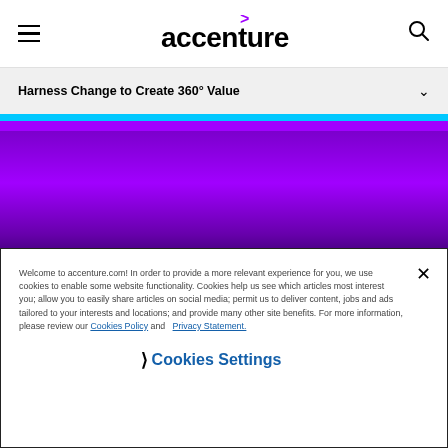Accenture navigation bar with hamburger menu, Accenture logo, and search icon
Harness Change to Create 360° Value
[Figure (other): Cyan, purple, and gradient purple color bands followed by a black area representing a video or hero image area on the Accenture website]
Welcome to accenture.com! In order to provide a more relevant experience for you, we use cookies to enable some website functionality. Cookies help us see which articles most interest you; allow you to easily share articles on social media; permit us to deliver content, jobs and ads tailored to your interests and locations; and provide many other site benefits. For more information, please review our Cookies Policy and Privacy Statement.
Cookies Settings